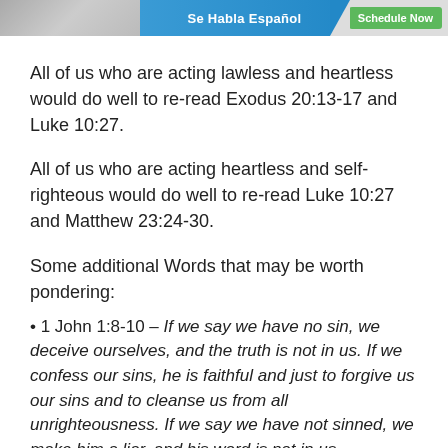[Figure (screenshot): Website banner with image on left, 'Se Habla Español' text in blue center, and 'Schedule Now' green button on right]
All of us who are acting lawless and heartless would do well to re-read Exodus 20:13-17 and Luke 10:27.
All of us who are acting heartless and self-righteous would do well to re-read Luke 10:27 and Matthew 23:24-30.
Some additional Words that may be worth pondering:
• 1 John 1:8-10 – If we say we have no sin, we deceive ourselves, and the truth is not in us. If we confess our sins, he is faithful and just to forgive us our sins and to cleanse us from all unrighteousness. If we say we have not sinned, we make him a liar, and his word is not in us.